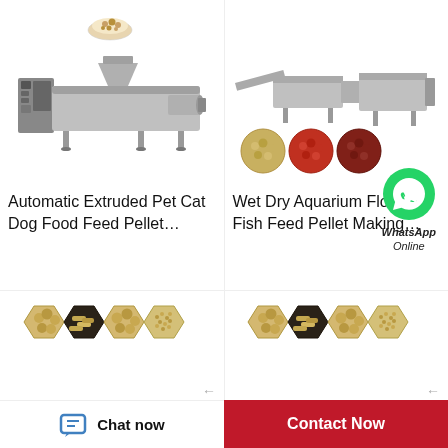[Figure (photo): Product card left: Photo of industrial pet food pellet extruder machine (stainless steel) with control panel, and a small bowl of pet food pellets at top. Title: Automatic Extruded Pet Cat Dog Food Feed Pellet...]
[Figure (photo): Product card right: Photo of industrial wet/dry aquarium floating fish feed pellet making machine line, with three small colored pellet samples (tan, red, dark red). WhatsApp Online overlay badge.]
[Figure (photo): Bottom left card: Four hexagon-shaped trays showing different animal feed pellets and pellet types in golden/brown colors.]
[Figure (photo): Bottom right card: Four hexagon-shaped trays showing different animal feed pellets and pellet types in golden/brown colors (duplicate display).]
Automatic Extruded Pet Cat Dog Food Feed Pellet…
Wet Dry Aquarium Floating Fish Feed Pellet Making…
WhatsApp Online
Chat now
Contact Now